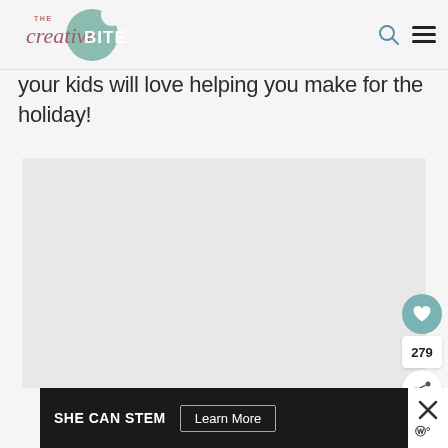The Creative Bite
your kids will love helping you make for the holiday!
[Figure (photo): Blank/white image placeholder area]
279
SHE CAN STEM   Learn More